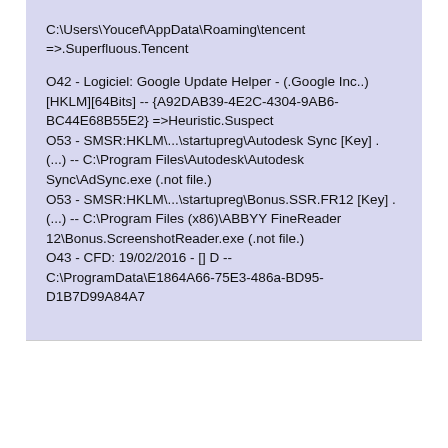C:\Users\Youcef\AppData\Roaming\tencent =>.Superfluous.Tencent

O42 - Logiciel: Google Update Helper - (.Google Inc..) [HKLM][64Bits] -- {A92DAB39-4E2C-4304-9AB6-BC44E68B55E2} =>Heuristic.Suspect
O53 - SMSR:HKLM\...\startupreg\Autodesk Sync [Key] . (...) -- C:\Program Files\Autodesk\Autodesk Sync\AdSync.exe (.not file.)
O53 - SMSR:HKLM\...\startupreg\Bonus.SSR.FR12 [Key] . (...) -- C:\Program Files (x86)\ABBYY FineReader 12\Bonus.ScreenshotReader.exe (.not file.)
O43 - CFD: 19/02/2016 - [] D -- C:\ProgramData\E1864A66-75E3-486a-BD95-D1B7D99A84A7